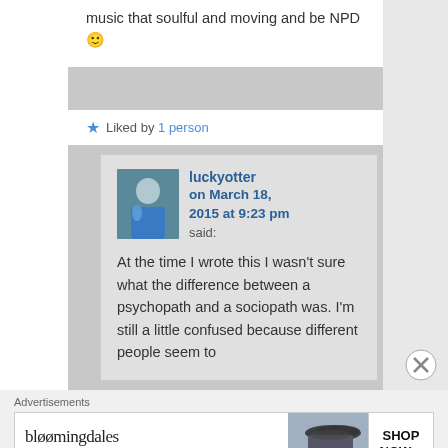music that soulful and moving and be NPD 🙂
★ Liked by 1 person
luckyotter on March 18, 2015 at 9:23 pm said: At the time I wrote this I wasn't sure what the difference between a psychopath and a sociopath was. I'm still a little confused because different people seem to
Advertisements
[Figure (screenshot): Bloomingdales advertisement banner: 'bloomingdales - View Today's Top Deals! SHOP NOW >']